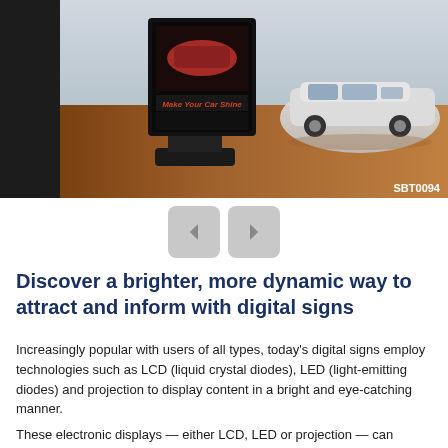[Figure (photo): A digital display sign showing a car advertisement with text 'Make Your Car Shine' on a dark stand, placed in a car showroom with a white Lexus sedan in the background. Label 'SBT0094' in bottom right corner.]
[Figure (screenshot): Navigation buttons showing left arrow (<) and right arrow (>) in grey rounded square buttons for image carousel navigation.]
Discover a brighter, more dynamic way to attract and inform with digital signs
Increasingly popular with users of all types, today's digital signs employ technologies such as LCD (liquid crystal diodes), LED (light-emitting diodes) and projection to display content in a bright and eye-catching manner.
These electronic displays — either LCD, LED or projection — can